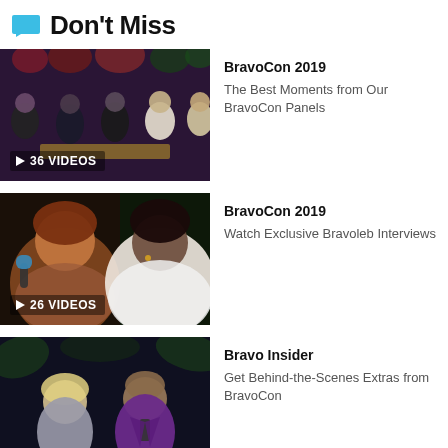Don't Miss
[Figure (photo): Panel of people seated on stage at BravoCon 2019 with floral background. Badge reads 36 VIDEOS.]
BravoCon 2019
The Best Moments from Our BravoCon Panels
[Figure (photo): Two women at BravoCon 2019 event, one holding a microphone. Badge reads 26 VIDEOS.]
BravoCon 2019
Watch Exclusive Bravoleb Interviews
[Figure (photo): Two people at BravoCon event with tropical plant background, man in purple suit.]
Bravo Insider
Get Behind-the-Scenes Extras from BravoCon